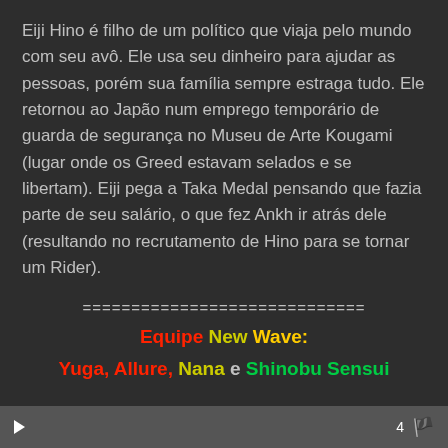Eiji Hino é filho de um político que viaja pelo mundo com seu avô. Ele usa seu dinheiro para ajudar as pessoas, porém sua família sempre estraga tudo. Ele retornou ao Japão num emprego temporário de guarda de segurança no Museu de Arte Kougami (lugar onde os Greed estavam selados e se libertam). Eiji pega a Taka Medal pensando que fazia parte de seu salário, o que fez Ankh ir atrás dele (resultando no recrutamento de Hino para se tornar um Rider).
=============================
Equipe New Wave:
Yuga, Allure, Nana e Shinobu Sensui
4